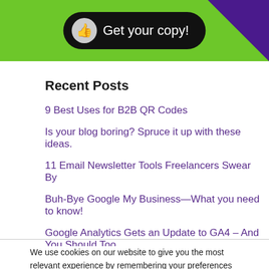[Figure (other): Green banner with purple triangle corner and black rounded button saying 'Get your copy!' with thumbs up icon]
Recent Posts
9 Best Uses for B2B QR Codes
Is your blog boring? Spruce it up with these ideas.
11 Email Newsletter Tools Freelancers Swear By
Buh-Bye Google My Business—What you need to know!
Google Analytics Gets an Update to GA4 – And You Should Too
We use cookies on our website to give you the most relevant experience by remembering your preferences and repeat visits. By clicking "Accept All", you consent to the use of ALL the cookies. However, you may visit 'Cookie Settings' to provide a controlled consent.